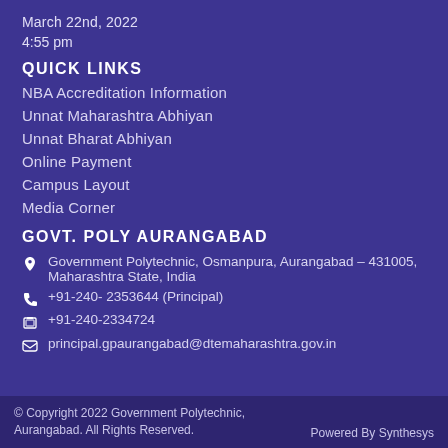March 22nd, 2022
4:55 pm
QUICK LINKS
NBA Accreditation Information
Unnat Maharashtra Abhiyan
Unnat Bharat Abhiyan
Online Payment
Campus Layout
Media Corner
GOVT. POLY AURANGABAD
Government Polytechnic, Osmanpura, Aurangabad – 431005, Maharashtra State, India
+91-240- 2353644 (Principal)
+91-240-2334724
principal.gpaurangabad@dtemaharashtra.gov.in
© Copyright 2022 Government Polytechnic, Aurangabad. All Rights Reserved. Powered By Synthesys